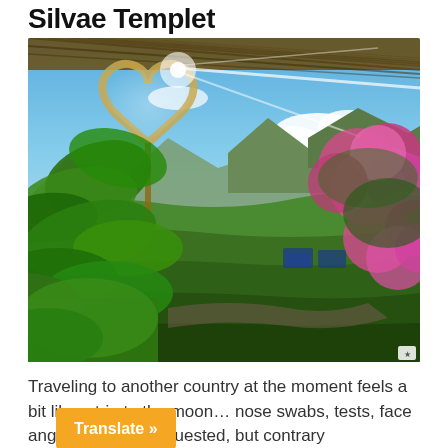Silvae Templet
[Figure (photo): Garden terrace scene with a large metallic heart sculpture catching sunlight, surrounded by green plants, pink bougainvillea flowers, and a mountain valley landscape in the background. A reed/bamboo roof overhang is visible at the top.]
Traveling to another country at the moment feels a bit like a trip to the moon… nose swabs, tests, face ange codes are requested, but contrary